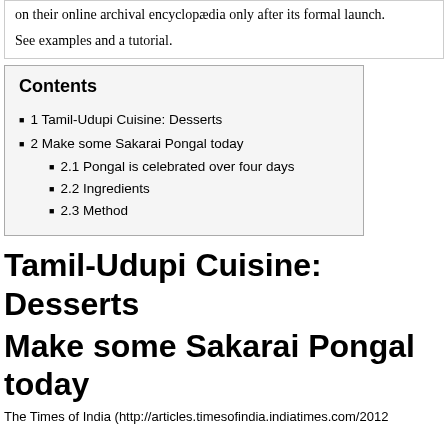on their online archival encyclopædia only after its formal launch.
See examples and a tutorial.
1 Tamil-Udupi Cuisine: Desserts
2 Make some Sakarai Pongal today
2.1 Pongal is celebrated over four days
2.2 Ingredients
2.3 Method
Tamil-Udupi Cuisine: Desserts
Make some Sakarai Pongal today
The Times of India (http://articles.timesofindia.indiatimes.com/2012